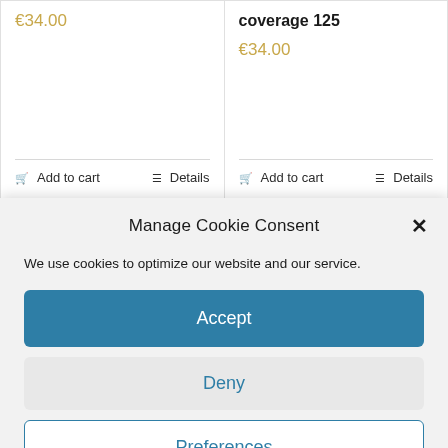€34.00
coverage 125
€34.00
Add to cart
Details
Add to cart
Details
Manage Cookie Consent
We use cookies to optimize our website and our service.
Accept
Deny
Preferences